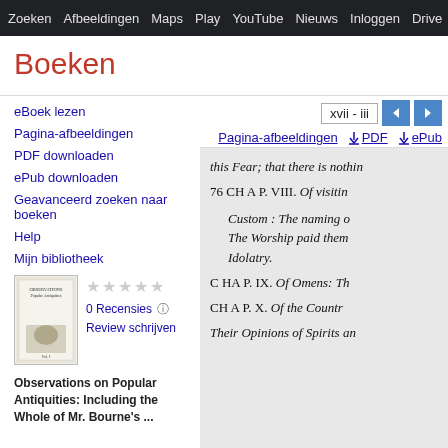Zoeken  Afbeeldingen  Maps  Play  YouTube  Nieuws  Inloggen  Drive  M
Boeken
eBoek lezen
Pagina-afbeeldingen
PDF downloaden
ePub downloaden
Geavanceerd zoeken naar boeken
Help
Mijn bibliotheek
[Figure (illustration): Book cover thumbnail for Observations on Popular Antiquities]
0 Recensies
Review schrijven
Observations on Popular Antiquities: Including the Whole of Mr. Bourne's ...
xvii - iii
Pagina-afbeeldingen  ↓ PDF  ↓ ePub
this Fear; that there is nothin
76 CH A P. VIII. Of visitin
Custom : The naming o
The Worship paid them
Idolatry.
C HA P. IX. Of Omens: Th
CH A P. X. Of the Countr
Their Opinions of Spirits an